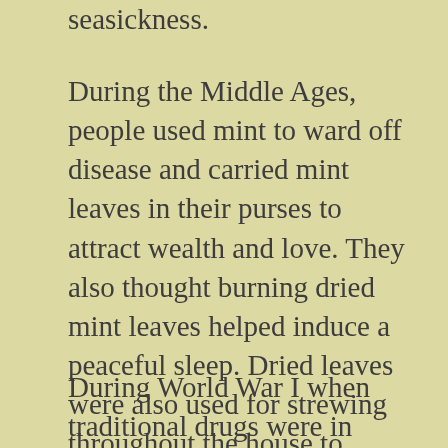seasickness.
During the Middle Ages, people used mint to ward off disease and carried mint leaves in their purses to attract wealth and love. They also thought burning dried mint leaves helped induce a peaceful sleep. Dried leaves were also used for strewing throughout the house to reduce odors and insects.
During World War I when traditional drugs were in short supply, a resurgence of herbal healing began